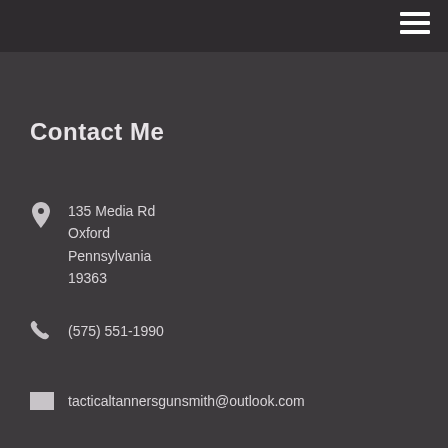Contact Me
135 Media Rd
Oxford
Pennsylvania
19363
(575) 551-1990
tacticaltannersgunsmith@outlook.com